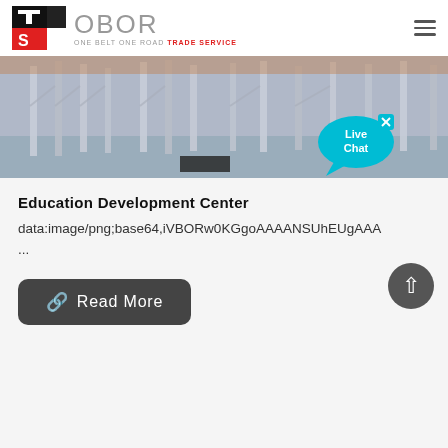[Figure (logo): TS OBOR logo with red and black icon and grey OBOR text, tagline ONE BELT ONE ROAD TRADE SERVICE]
[Figure (photo): Scaffolding or steel frame construction photo, grey metal structures outdoors with a Live Chat bubble overlay in bottom right]
Education Development Center
data:image/png;base64,iVBORw0KGgoAAAANSUhEUgAAA
...
Read More